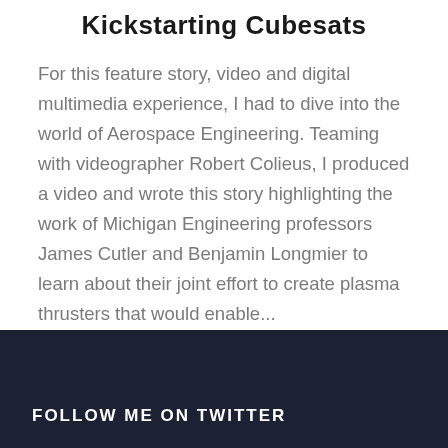Kickstarting Cubesats
For this feature story, video and digital multimedia experience, I had to dive into the world of Aerospace Engineering. Teaming with videographer Robert Colieus, I produced a video and wrote this story highlighting the work of Michigan Engineering professors James Cutler and Benjamin Longmier to learn about their joint effort to create plasma thrusters that would enable...
READ MORE
FOLLOW ME ON TWITTER